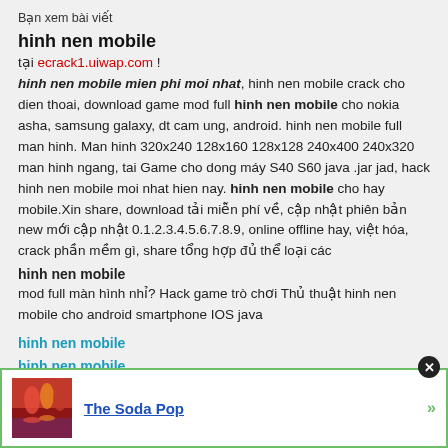Bạn xem bài viết
hinh nen mobile
tại ecrack1.uiwap.com !
hinh nen mobile mien phi moi nhat, hinh nen mobile crack cho dien thoai, download game mod full hinh nen mobile cho nokia asha, samsung galaxy, dt cam ung, android. hinh nen mobile full man hinh. Man hinh 320x240 128x160 128x128 240x400 240x320 man hinh ngang, tai Game cho dong may S40 S60 java .jar jad, hack hinh nen mobile moi nhat hien nay. hinh nen mobile cho hay mobile.Xin share, download tải miễn phí về, cập nhật phiên bản new mới cập nhật 0.1.2.3.4.5.6.7.8.9, online offline hay, việt hóa, crack phần mềm gì, share tổng hợp đủ thể loại các
hinh nen mobile
mod full màn hình nhỉ? Hack game trò chơi Thủ thuật hinh nen mobile cho android smartphone IOS java
hinh nen mobile
hinh nen mobile
hinh nen mobile
,
hinh ne...
,
hinh nen mobile
[Figure (screenshot): Advertisement popup with image on left showing colorful drinks/soda, text 'The Soda Pop' as a blue link, green border, close button (X) in top right corner, and green arrow on right.]